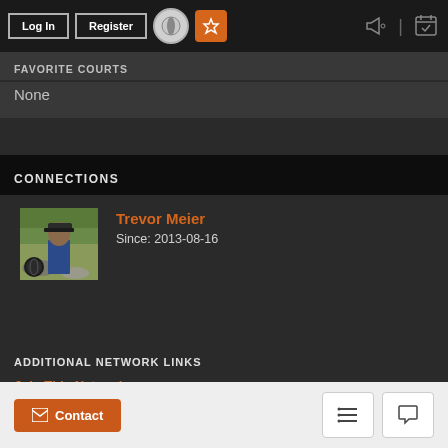Log In | Register
FAVORITE COURTS
None
CONNECTIONS
Trevor Meier
Since: 2013-08-16
ADDITIONAL NETWORK LINKS
Join This Network
Register and join this network.
Contact